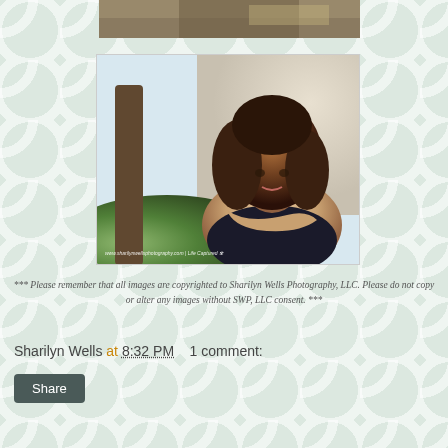[Figure (photo): Partial top of a photo showing what appears to be a bench or outdoor furniture against a blue sky]
[Figure (photo): Portrait photo of a young woman with curly hair sitting outdoors near a tree and stone wall, watermarked with www.sharilynwellsphotography.com | Life Captured]
*** Please remember that all images are copyrighted to Sharilyn Wells Photography, LLC. Please do not copy or alter any images without SWP, LLC consent. ***
Sharilyn Wells at 8:32 PM   1 comment:
Share